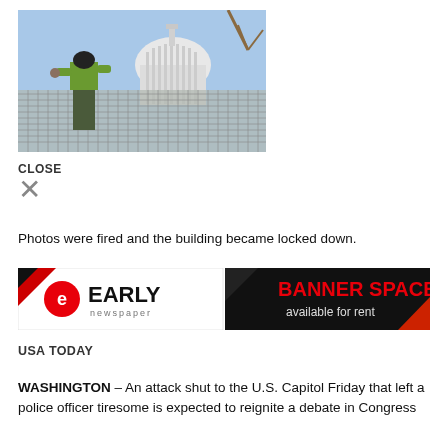[Figure (photo): A worker in a yellow-green vest and dark pants leans against a tall metal security fence. Behind the fence is the US Capitol building dome visible against a blue sky.]
CLOSE
×
Photos were fired and the building became locked down.
[Figure (logo): Early Newspaper logo on left with red circular e icon and bold black EARLY text with 'newspaper' below in gray. Right side shows BANNER SPACE available for rent in red bold text on dark background with geometric corner shapes.]
USA TODAY
WASHINGTON – An attack shut to the U.S. Capitol Friday that left a police officer tiresome is expected to reignite a debate in Congress